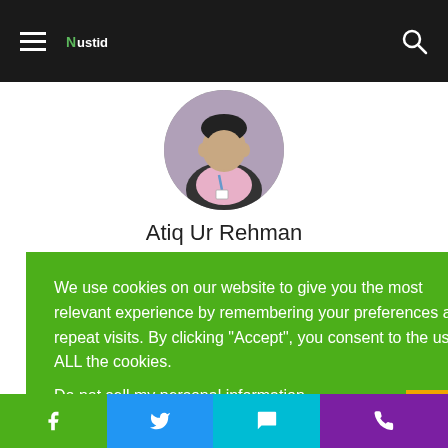Navigation bar with hamburger menu, logo (Nustid), and search icon
[Figure (photo): Circular profile photo of a young man wearing a dark vest over a pink shirt with a lanyard/ID badge, against a light background]
Atiq Ur Rehman
We use cookies on our website to give you the most relevant experience by remembering your preferences and repeat visits. By clicking "Accept", you consent to the use of ALL the cookies.
Do not sell my personal information.
Cookie settings   ACCEPT
Bottom navigation bar with social media icons